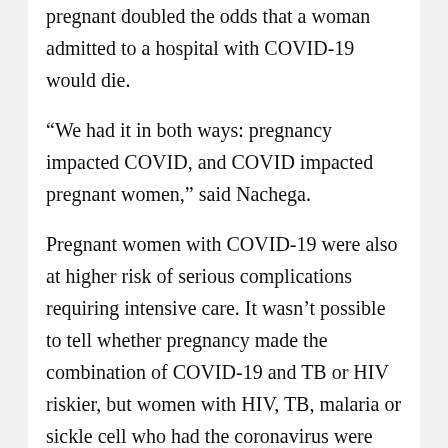pregnant doubled the odds that a woman admitted to a hospital with COVID-19 would die.
“We had it in both ways: pregnancy impacted COVID, and COVID impacted pregnant women,” said Nachega.
Pregnant women with COVID-19 were also at higher risk of serious complications requiring intensive care. It wasn’t possible to tell whether pregnancy made the combination of COVID-19 and TB or HIV riskier, but women with HIV, TB, malaria or sickle cell who had the coronavirus were more likely to get seriously ill.
“It’s very good that the study was conducted in